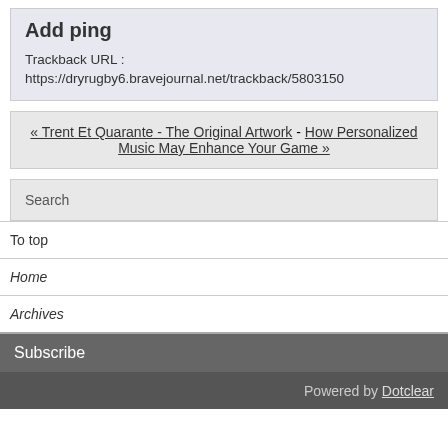Add ping
Trackback URL :
https://dryrugby6.bravejournal.net/trackback/5803150
« Trent Et Quarante - The Original Artwork - How Personalized Music May Enhance Your Game »
Search
To top
Home
Archives
Subscribe
Powered by Dotclear